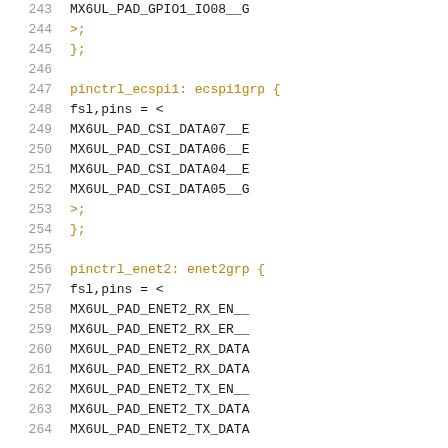Source code listing, lines 243–264, showing device tree pin control configuration for ecspi1 and enet2 groups